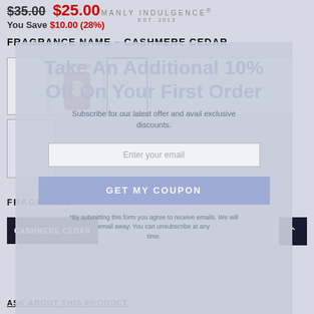$35.00 $25.00 You Save $10.00 (28%)
MANLY INDULGENCE EST. 2013
FRAGRANCE NAME – CASHMERE CEDAR
[Figure (photo): Product thumbnails of a dark maroon candle jar. Main image shows a dark burgundy/plum colored candle with gold label. Additional empty thumbnail boxes shown.]
Take An Additional 10% Off On Your First Order
Subscribe for our latest offer and avail exclusive discounts.
Enter your email
GET MY COUPON
FRAGRANCE
CASHMERE CEDAR
ASK ABOUT THIS PRODUCT
*By submitting this form you agree to receive emails. We will email away. You can unsubscribe at any time.